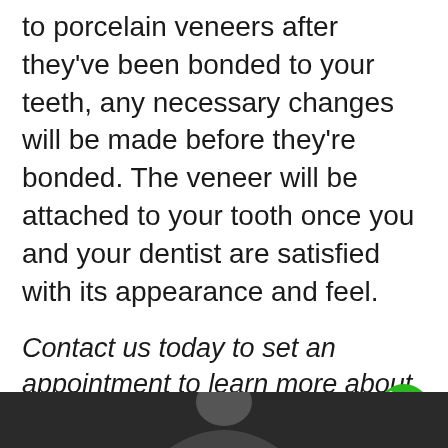to porcelain veneers after they've been bonded to your teeth, any necessary changes will be made before they're bonded. The veneer will be attached to your tooth once you and your dentist are satisfied with its appearance and feel.
Contact us today to set an appointment to learn more about this amazing cosmetic service.
Video: Porcelain Veneers
[Figure (photo): Bottom portion of a video thumbnail showing a person, partially visible at the bottom of the page. A green phone/call button is overlaid in the bottom right area.]